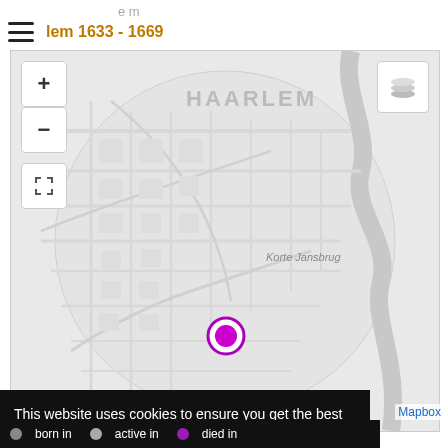e m | lem 1633 - 1669
[Figure (map): Interactive map of Haarlem showing streets and a river, with a magenta pin marking a location near Korte Jansbrug. Map controls include zoom in (+), zoom out (-), fullscreen, and layer toggle buttons.]
This website uses cookies to ensure you get the best experience on our website. Privacy policy
Ok
born in   active in   died in
Mapbox